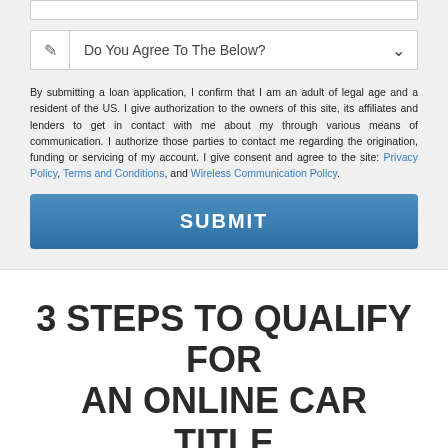Do You Agree To The Below?
By submitting a loan application, I confirm that I am an adult of legal age and a resident of the US. I give authorization to the owners of this site, its affiliates and lenders to get in contact with me about my through various means of communication. I authorize those parties to contact me regarding the origination, funding or servicing of my account. I give consent and agree to the site: Privacy Policy, Terms and Conditions, and Wireless Communication Policy.
SUBMIT
3 STEPS TO QUALIFY FOR AN ONLINE CAR TITLE LOAN
[Figure (other): Partial blue circle at bottom of page]